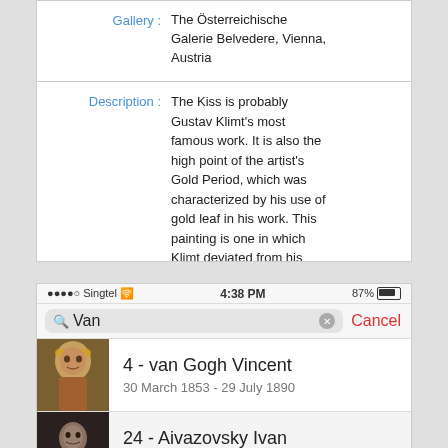[Figure (screenshot): Mobile app detail screen showing Gallery and Description fields for The Kiss by Gustav Klimt. Gallery: The Österreichische Galerie Belvedere, Vienna, Austria. Description: The Kiss is probably Gustav Klimt's most famous work. It is also the high point of the artist's Gold Period, which was characterized by his use of gold leaf in his work. This painting is one in which Klimt deviated from his portrayal of dominant in]
[Figure (screenshot): Mobile app search screen showing status bar with Singtel carrier, 4:38 PM time, 87% battery. Search bar with 'Van' typed. Results list showing: 4 - van Gogh Vincent (30 March 1853 - 29 July 1890), 24 - Aivazovsky Ivan (29 July 1817 - 05 May 1900), and partially visible 49 - Shishkin Ivan]